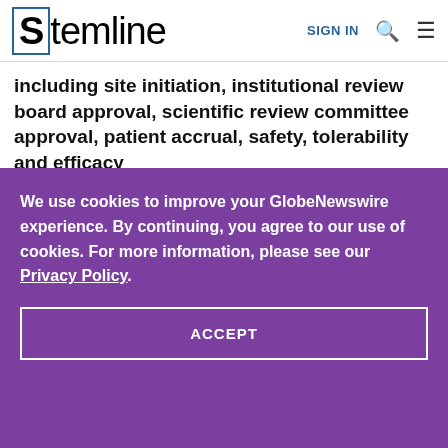[Figure (logo): Stemline company logo with stylized S in a box followed by 'temline' text]
including site initiation, institutional review board approval, scientific review committee approval, patient accrual, safety, tolerability and efficacy
We use cookies to improve your GlobeNewswire experience. By continuing, you agree to our use of cookies. For more information, please see our Privacy Policy.
ACCEPT